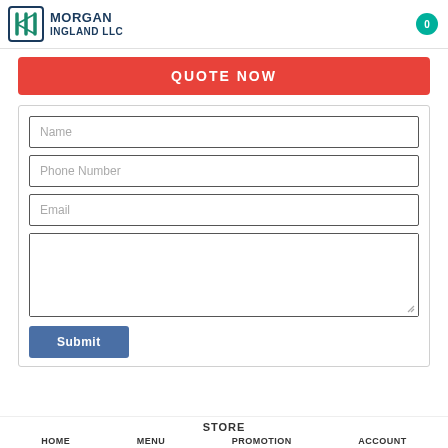MORGAN INGLAND LLC
QUOTE NOW
[Figure (other): Contact form with fields for Name, Phone Number, Email, and a text area, plus a Submit button]
STORE HOME MENU PROMOTION ACCOUNT